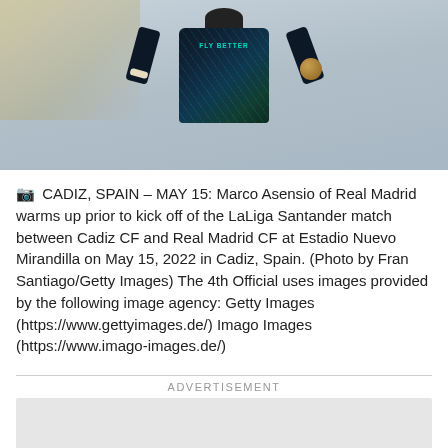[Figure (photo): A soccer player wearing a dark navy/teal jersey with 'FLY BETTER' text, cropped to show upper body, warming up. Background is blurred blue/grey stadium setting.]
CADIZ, SPAIN – MAY 15: Marco Asensio of Real Madrid warms up prior to kick off of the LaLiga Santander match between Cadiz CF and Real Madrid CF at Estadio Nuevo Mirandilla on May 15, 2022 in Cadiz, Spain. (Photo by Fran Santiago/Getty Images) The 4th Official uses images provided by the following image agency: Getty Images (https://www.gettyimages.de/) Imago Images (https://www.imago-images.de/)
ADVERTISEMENT